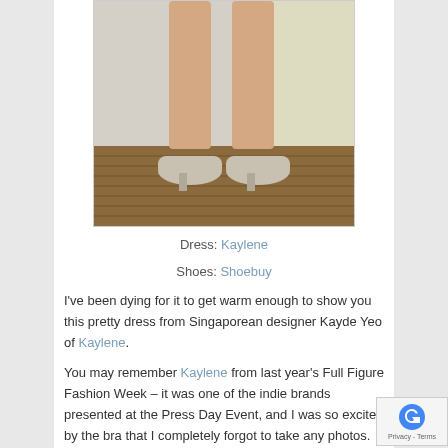[Figure (photo): Photo showing lower body of a person wearing a dress, standing in white/cream pumps on a woven rug/mat against a wall]
Dress: Kaylene
Shoes: Shoebuy
I've been dying for it to get warm enough to show you this pretty dress from Singaporean designer Kayde Yeo of Kaylene.
You may remember Kaylene from last year's Full Figure Fashion Week – it was one of the indie brands presented at the Press Day Event, and I was so excited by the bra... that I completely forgot to take any photos. Classic, retro... a little whimsical, with lots of colour and prints – I was in